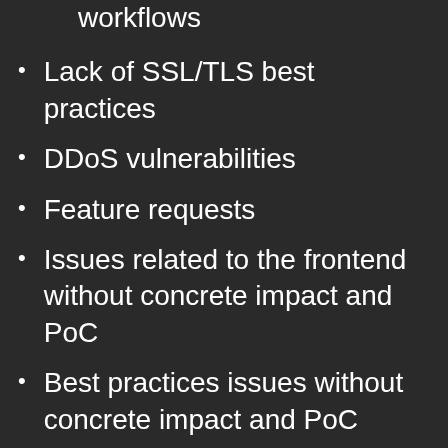workflows
Lack of SSL/TLS best practices
DDoS vulnerabilities
Feature requests
Issues related to the frontend without concrete impact and PoC
Best practices issues without concrete impact and PoC
Vulnerabilities primarily caused by browser/plugin defects
Leakage of non sensitive api keys ex: etherscan, Infura, Alchemy, etc.